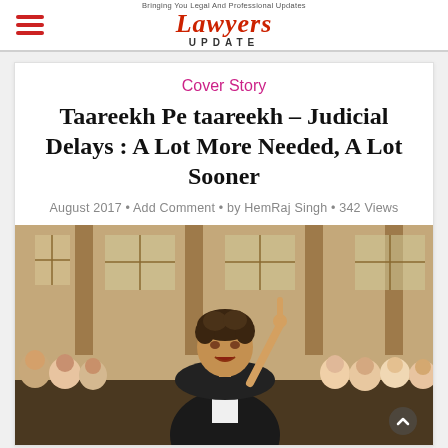Lawyers Update
Cover Story
Taareekh Pe taareekh – Judicial Delays : A Lot More Needed, A Lot Sooner
August 2017 • Add Comment • by HemRaj Singh • 342 Views
[Figure (photo): Movie still showing a man in a lawyer's black coat and white shirt, pointing his finger upward with an intense expression, standing in what appears to be a courtroom with people in the background]